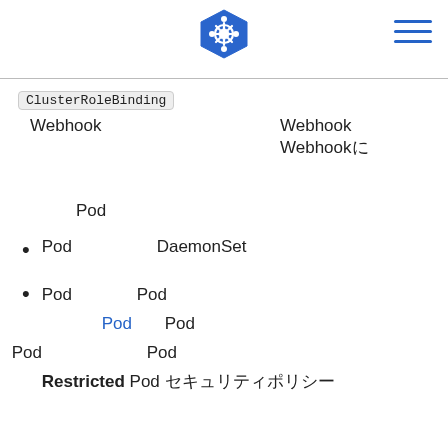[Figure (logo): Kubernetes logo (blue helm wheel) centered in page header]
[Figure (other): Hamburger menu icon (three blue horizontal lines) in top-right corner]
ClusterRoleBinding
Webhook	Webhook
Webhookへ
Pod
Pod	DaemonSet
Pod	Pod
Pod	Pod
Pod	Pod
Restricted Pod セキュリティポリシー